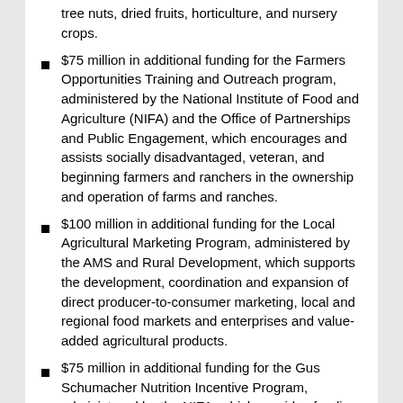tree nuts, dried fruits, horticulture, and nursery crops.
$75 million in additional funding for the Farmers Opportunities Training and Outreach program, administered by the National Institute of Food and Agriculture (NIFA) and the Office of Partnerships and Public Engagement, which encourages and assists socially disadvantaged, veteran, and beginning farmers and ranchers in the ownership and operation of farms and ranches.
$100 million in additional funding for the Local Agricultural Marketing Program, administered by the AMS and Rural Development, which supports the development, coordination and expansion of direct producer-to-consumer marketing, local and regional food markets and enterprises and value-added agricultural products.
$75 million in additional funding for the Gus Schumacher Nutrition Incentive Program, administered by the NIFA, which provides funding opportunities to conduct and evaluate projects providing incentives to increase the purchase of